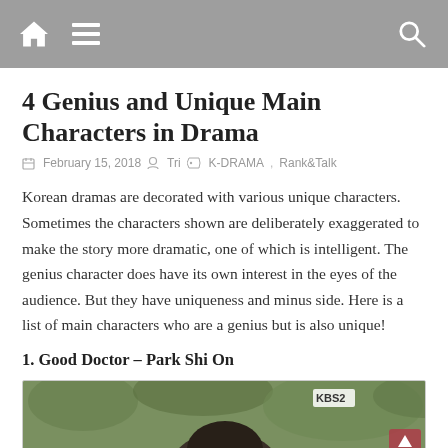Navigation bar with home, menu, and search icons
4 Genius and Unique Main Characters in Drama
February 15, 2018   Tri   K-DRAMA, Rank&Talk
Korean dramas are decorated with various unique characters. Sometimes the characters shown are deliberately exaggerated to make the story more dramatic, one of which is intelligent. The genius character does have its own interest in the eyes of the audience. But they have uniqueness and minus side. Here is a list of main characters who are a genius but is also unique!
1. Good Doctor – Park Shi On
[Figure (photo): Photo of a person outdoors with green foliage background, KBS2 badge in top right corner, and a scroll-up button]